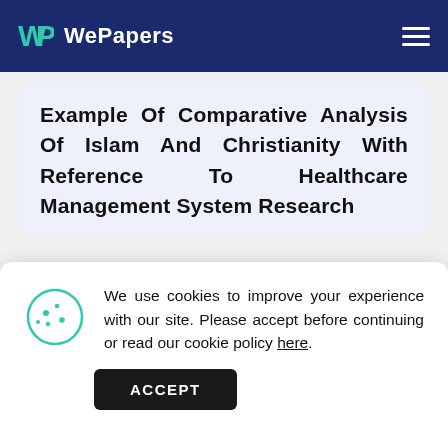WePapers
Example Of Comparative Analysis Of Islam And Christianity With Reference To Healthcare Management System Research
We use cookies to improve your experience with our site. Please accept before continuing or read our cookie policy here.
ACCEPT
tree because both of the theological philosophies value social services, and they urge their followers to save lives and respect people